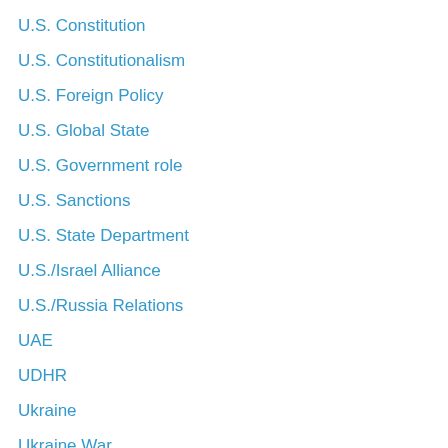U.S. Constitution
U.S. Constitutionalism
U.S. Foreign Policy
U.S. Global State
U.S. Government role
U.S. Sanctions
U.S. State Department
U.S./Israel Alliance
U.S./Russia Relations
UAE
UDHR
Ukraine
Ukraine War
Ukraine War Geopolics
Ukraine Wars
ultra-nationalism
UN
UN 'shame list'
UN Anti-Racism
UN Balance Sheet